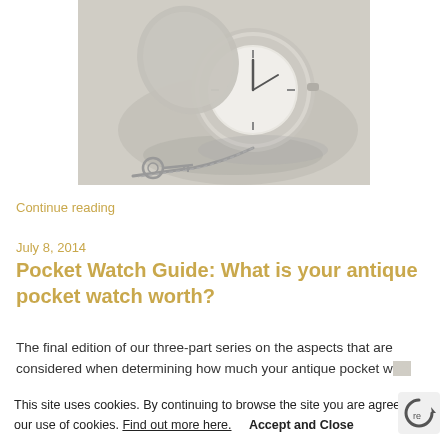[Figure (photo): Grayscale photo of an antique open pocket watch lying on a light surface with a key chain beside it]
Continue reading
July 8, 2014
Pocket Watch Guide: What is your antique pocket watch worth?
The final edition of our three-part series on the aspects that are considered when determining how much your antique pocket w... worth...
This site uses cookies. By continuing to browse the site you are agreeing to our use of cookies. Find out more here.    Accept and Close